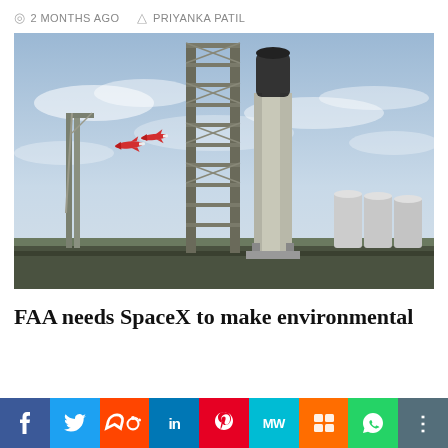2 MONTHS AGO   PRIYANKA PATIL
[Figure (photo): SpaceX Starship rocket on the launch mount at Starbase, with a large steel launch tower structure, a second crane structure to the left, and white storage tanks/silos in the background. Two red-and-white aircraft fly past in the midground sky.]
FAA needs SpaceX to make environmental